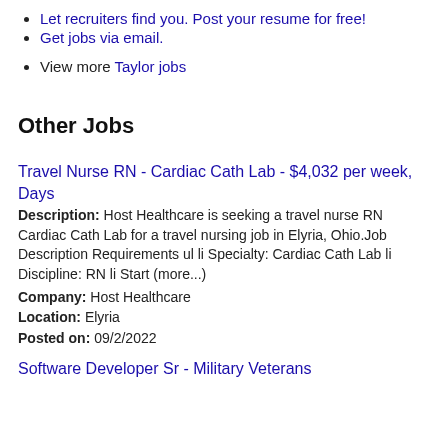Let recruiters find you. Post your resume for free!
Get jobs via email.
View more Taylor jobs
Other Jobs
Travel Nurse RN - Cardiac Cath Lab - $4,032 per week, Days
Description: Host Healthcare is seeking a travel nurse RN Cardiac Cath Lab for a travel nursing job in Elyria, Ohio.Job Description Requirements ul li Specialty: Cardiac Cath Lab li Discipline: RN li Start (more...)
Company: Host Healthcare
Location: Elyria
Posted on: 09/2/2022
Software Developer Sr - Military Veterans